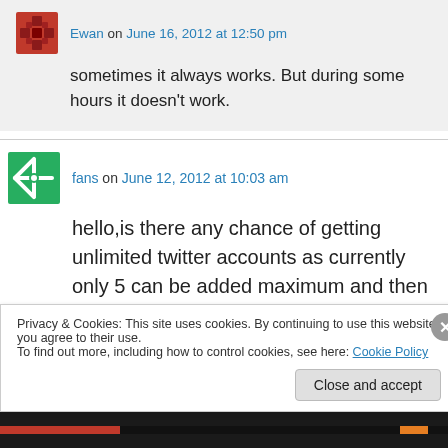Ewan on June 16, 2012 at 12:50 pm
sometimes it always works. But during some hours it doesn't work.
fans on June 12, 2012 at 10:03 am
hello,is there any chance of getting unlimited twitter accounts as currently only 5 can be added maximum and then the account is of no use for
Privacy & Cookies: This site uses cookies. By continuing to use this website, you agree to their use.
To find out more, including how to control cookies, see here: Cookie Policy
Close and accept